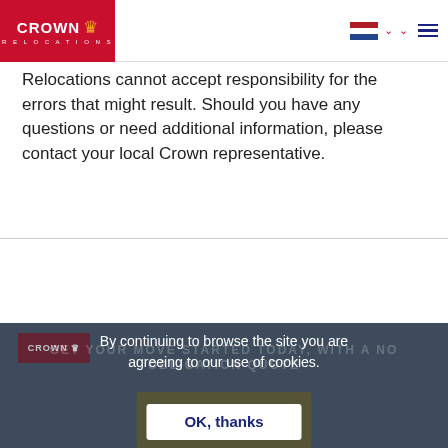Crown Relocations
Relocations cannot accept responsibility for the errors that might result. Should you have any questions or need additional information, please contact your local Crown representative.
By continuing to browse the site you are agreeing to our use of cookies.
OK, thanks